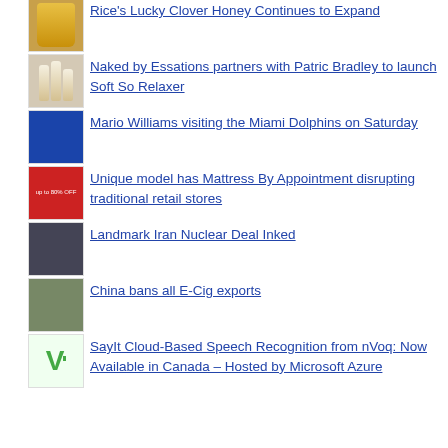Rice's Lucky Clover Honey Continues to Expand
Naked by Essations partners with Patric Bradley to launch Soft So Relaxer
Mario Williams visiting the Miami Dolphins on Saturday
Unique model has Mattress By Appointment disrupting traditional retail stores
Landmark Iran Nuclear Deal Inked
China bans all E-Cig exports
SayIt Cloud-Based Speech Recognition from nVoq: Now Available in Canada – Hosted by Microsoft Azure